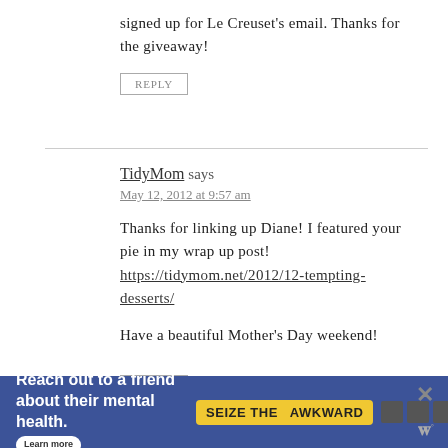signed up for Le Creuset's email. Thanks for the giveaway!
REPLY
TidyMom says
May 12, 2012 at 9:57 am
Thanks for linking up Diane! I featured your pie in my wrap up post! https://tidymom.net/2012/12-tempting-desserts/
Have a beautiful Mother's Day weekend!
REPLY
[Figure (infographic): Advertisement banner: 'Reach out to a friend about their mental health. Learn more' with SEIZE THE AWKWARD badge and logos.]